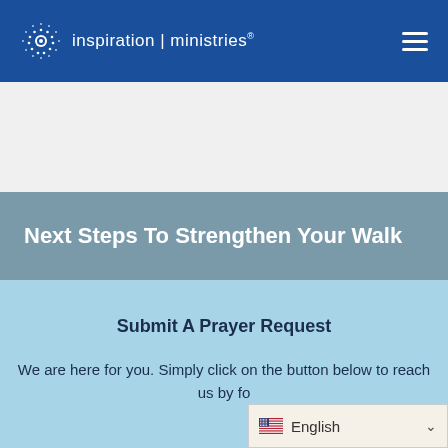inspiration | ministries.
Next Steps To Strengthen Your Walk
Submit A Prayer Request
We are here for you. Simply click on the button below to reach us by fo...